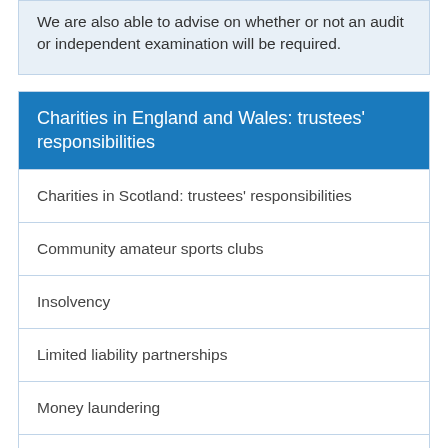We are also able to advise on whether or not an audit or independent examination will be required.
Charities in England and Wales: trustees' responsibilities
Charities in Scotland: trustees' responsibilities
Community amateur sports clubs
Insolvency
Limited liability partnerships
Money laundering
Money laundering - high value dealers